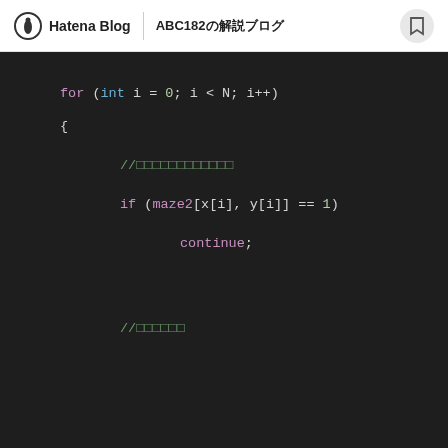Hatena Blog | ABC182の解説ブログ
[Figure (screenshot): Dark-themed code editor screenshot showing a C++ for loop with a continue statement and comments (Japanese characters replaced with boxes).]